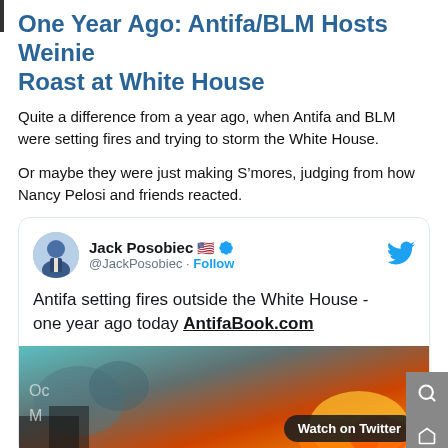One Year Ago: Antifa/BLM Hosts Weinie Roast at White House
Quite a difference from a year ago, when Antifa and BLM were setting fires and trying to storm the White House.
Or maybe they were just making S’mores, judging from how Nancy Pelosi and friends reacted.
[Figure (screenshot): Embedded tweet from Jack Posobiec (@JackPosobiec) with verified badge and US flag emoji, text: 'Antifa setting fires outside the White House - one year ago today AntifaBook.com', with a thumbnail image showing fire/smoke outside, and a 'Watch on Twitter' badge.]